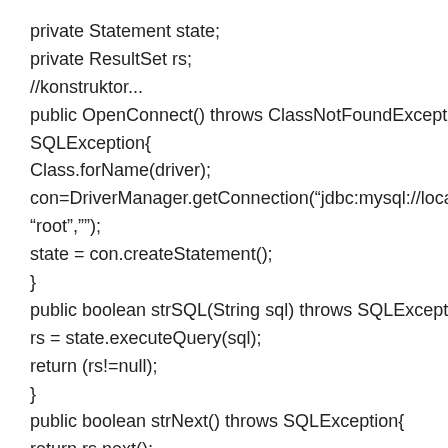private Statement state;
private ResultSet rs;
//konstruktor...
public OpenConnect() throws ClassNotFoundException,
SQLException{
Class.forName(driver);
con=DriverManager.getConnection("jdbc:mysql://localhost/
"root","");
state = con.createStatement();
}
public boolean strSQL(String sql) throws SQLException{
rs = state.executeQuery(sql);
return (rs!=null);
}
public boolean strNext() throws SQLException{
return rs.next();